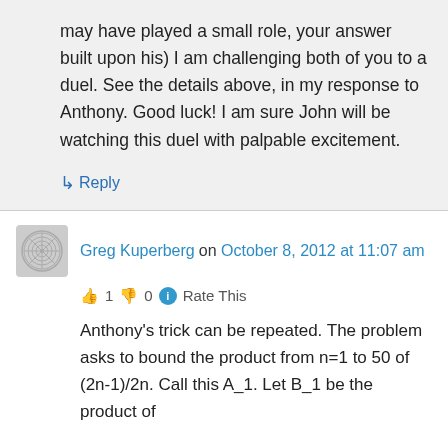may have played a small role, your answer built upon his) I am challenging both of you to a duel. See the details above, in my response to Anthony. Good luck! I am sure John will be watching this duel with palpable excitement.
↳ Reply
Greg Kuperberg on October 8, 2012 at 11:07 am
👍 1 👎 0 ℹ Rate This
Anthony's trick can be repeated. The problem asks to bound the product from n=1 to 50 of (2n-1)/2n. Call this A_1. Let B_1 be the product of